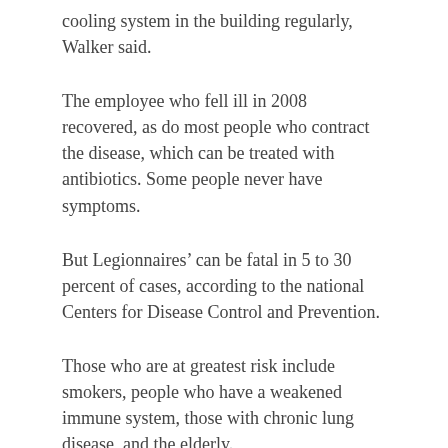cooling system in the building regularly, Walker said.
The employee who fell ill in 2008 recovered, as do most people who contract the disease, which can be treated with antibiotics. Some people never have symptoms.
But Legionnaires’ can be fatal in 5 to 30 percent of cases, according to the national Centers for Disease Control and Prevention.
Those who are at greatest risk include smokers, people who have a weakened immune system, those with chronic lung disease, and the elderly.
Legionnaires’ disease can be difficult to diagnose initially because symptoms can be similar to the flu. About two to 10 days after becoming infected, people may develop a fever, chills, cough, muscle aches and headache.